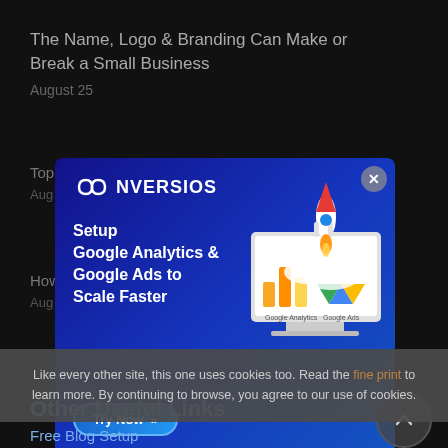The Name, Logo & Branding Can Make or Break a Small Business
August 25
Top...
Aug...
How...
Aug...
[Figure (infographic): CONVERSIOS ad popup with dark blue gradient background. Logo at top left with infinity symbol. Text reads: Setup Google Analytics & Google Ads to Scale Faster. Try Now button. Right side shows a monitor with Google Analytics and Google Ads logos and a rocket launching.]
Other Useful Links
Like every other site, this one uses cookies too. Read the fine print to learn more. By continuing to browse, you agree to our use of cookies.
Free Blog Setup